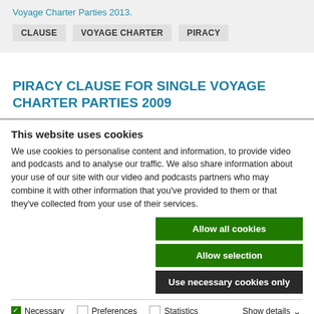Voyage Charter Parties 2013.
CLAUSE
VOYAGE CHARTER
PIRACY
PIRACY CLAUSE FOR SINGLE VOYAGE CHARTER PARTIES 2009
This website uses cookies
We use cookies to personalise content and information, to provide video and podcasts and to analyse our traffic. We also share information about your use of our site with our video and podcasts partners who may combine it with other information that you've provided to them or that they've collected from your use of their services.
Allow all cookies
Allow selection
Use necessary cookies only
Necessary  Preferences  Statistics  Marketing  Show details